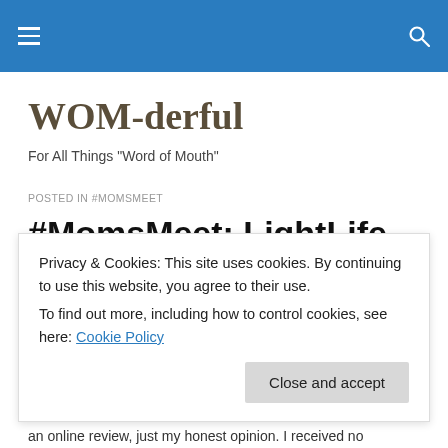WOM-derful — navigation bar
WOM-derful
For All Things "Word of Mouth"
POSTED IN #MOMSMEET
#MomsMeet: LightLife Plant-Based Burgers #Review
Privacy & Cookies: This site uses cookies. By continuing to use this website, you agree to their use.
To find out more, including how to control cookies, see here: Cookie Policy
an online review, just my honest opinion. I received no